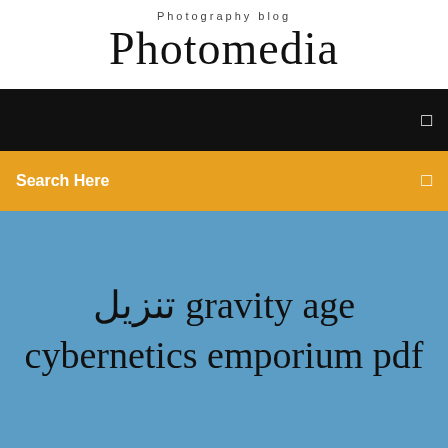Photography blog
Photomedia
[Figure (screenshot): Black navigation bar with a small square icon on the right]
Search Here
تنزيل gravity age cybernetics emporium pdf